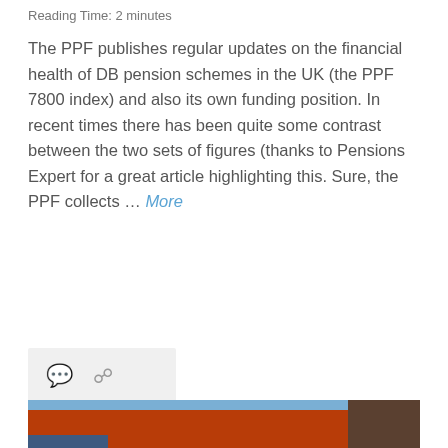Reading Time: 2 minutes
The PPF publishes regular updates on the financial health of DB pension schemes in the UK (the PPF 7800 index) and also its own funding position. In recent times there has been quite some contrast between the two sets of figures (thanks to Pensions Expert for a great article highlighting this. Sure, the PPF collects … More
[Figure (other): Icon bar with comment bubble and share/link icon on a light grey background]
[Figure (photo): Person wearing a red jacket, photographed from behind or side, with blue sky and foliage in the background]